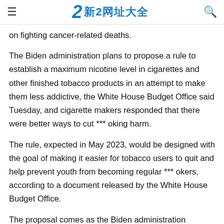≡  2 新2网址大全  🔍
on fighting cancer-related deaths.
The Biden administration plans to propose a rule to establish a maximum nicotine level in cigarettes and other finished tobacco products in an attempt to make them less addictive, the White House Budget Office said Tuesday, and cigarette makers responded that there were better ways to cut *** oking harm.
The rule, expected in May 2023, would be designed with the goal of making it easier for tobacco users to quit and help prevent youth from becoming regular *** okers, according to a document released by the White House Budget Office.
The proposal comes as the Biden administration doubles down on fighting cancer-related deaths.
Earlier this year, the government announced plans to reduce the death rate from cancer by at least 50% over the next 25